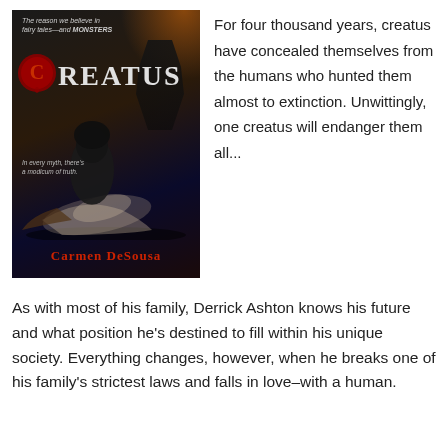[Figure (illustration): Book cover for 'Creatus' by Carmen DeSousa. Dark fantasy cover with tagline 'The reason we believe in fairy tales—and MONSTERS' at top. Large red wax seal letter C. Title 'CREATUS' in large letters. Dark hooded figure kneeling over a woman with long hair against a dark atmospheric background. Subtitle text 'In every myth, there's a modicum of truth.' at middle left. Author name 'CARMEN DESOUSA' in red at bottom.]
For four thousand years, creatus have concealed themselves from the humans who hunted them almost to extinction. Unwittingly, one creatus will endanger them all...
As with most of his family, Derrick Ashton knows his future and what position he's destined to fill within his unique society. Everything changes, however, when he breaks one of his family's strictest laws and falls in love–with a human.